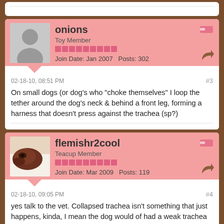[Figure (screenshot): Partial forum post block at top of page, showing dotted divider line]
onions
Toy Member
Join Date: Jan 2007    Posts: 302
02-18-10, 08:51 PM
#3
On small dogs (or dog's who "choke themselves" I loop the tether around the dog's neck & behind a front leg, forming a harness that doesn't press against the trachea (sp?)
flemishr2cool
Teacup Member
Join Date: Mar 2009    Posts: 119
02-18-10, 09:05 PM
#4
yes talk to the vet. Collapsed trachea isn't something that just happens, kinda, I mean the dog would of had a weak trachea